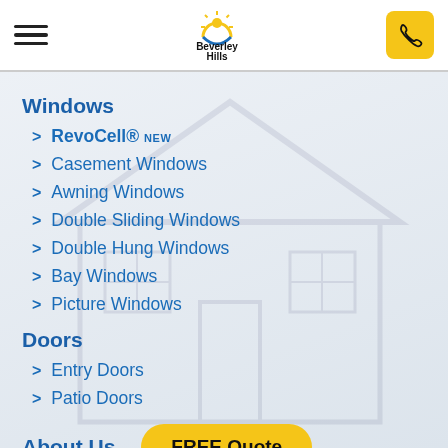Beverley Hills [logo with hamburger menu and phone button]
Windows
RevoCell® NEW
Casement Windows
Awning Windows
Double Sliding Windows
Double Hung Windows
Bay Windows
Picture Windows
Doors
Entry Doors
Patio Doors
About Us
FREE Quote